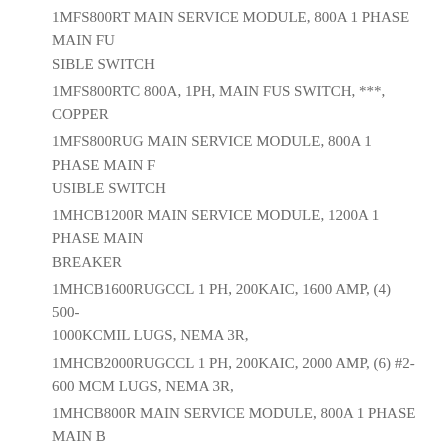1MFS800RT MAIN SERVICE MODULE, 800A 1 PHASE MAIN FUSIBLE SWITCH
1MFS800RTC 800A, 1PH, MAIN FUS SWITCH, ***, COPPER
1MFS800RUG MAIN SERVICE MODULE, 800A 1 PHASE MAIN FUSIBLE SWITCH
1MHCB1200R MAIN SERVICE MODULE, 1200A 1 PHASE MAIN BREAKER
1MHCB1600RUGCCL 1 PH, 200KAIC, 1600 AMP, (4) 500-1000KCMIL LUGS, NEMA 3R,
1MHCB2000RUGCCL 1 PH, 200KAIC, 2000 AMP, (6) #2-600 MCM LUGS, NEMA 3R,
1MHCB800R MAIN SERVICE MODULE, 800A 1 PHASE MAIN BREAKER
1MHCB800RC 800A, 1PHASE, MAIN CIRCUIT BREAKER (HMD), COPPER BUS